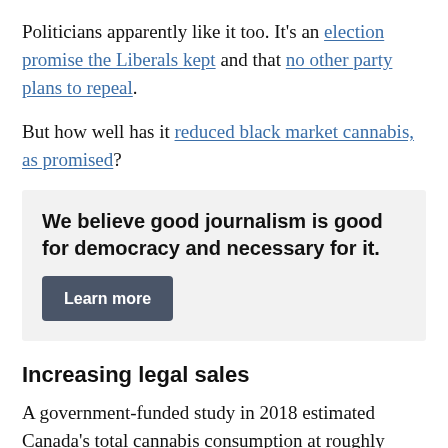Politicians apparently like it too. It's an election promise the Liberals kept and that no other party plans to repeal.
But how well has it reduced black market cannabis, as promised?
We believe good journalism is good for democracy and necessary for it. Learn more
Increasing legal sales
A government-funded study in 2018 estimated Canada's total cannabis consumption at roughly 926,000 kilograms annually, or some 77,000 kilograms monthly.